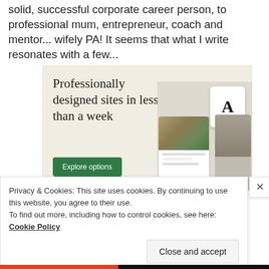solid, successful corporate career person, to professional mum, entrepreneur, coach and mentor... wifely PA! It seems that what I write resonates with a few...
[Figure (screenshot): Advertisement banner with beige background. Heading reads 'Professionally designed sites in less than a week' with a green 'Explore options' button and mockup UI screenshots on the right.]
Privacy & Cookies: This site uses cookies. By continuing to use this website, you agree to their use.
To find out more, including how to control cookies, see here:
Cookie Policy
Close and accept